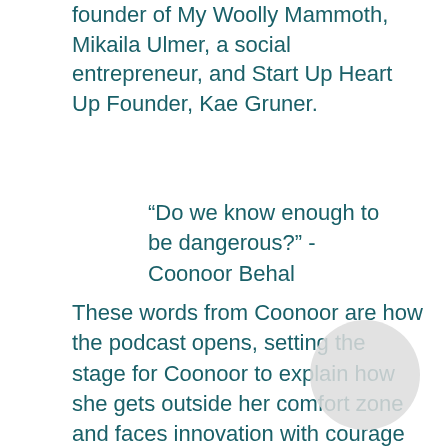founder of My Woolly Mammoth, Mikaila Ulmer, a social entrepreneur, and Start Up Heart Up Founder, Kae Gruner.
“Do we know enough to be dangerous?” -Coonoor Behal
These words from Coonoor are how the podcast opens, setting the stage for Coonoor to explain how she gets outside her comfort zone and faces innovation with courage and excitement—not trepidation. There’s also plenty of levity—as Coonoor, who’s passion for improv comedy knows no bounds, is apt to add in! She also may or may not have worn a penguin costume for the interview.